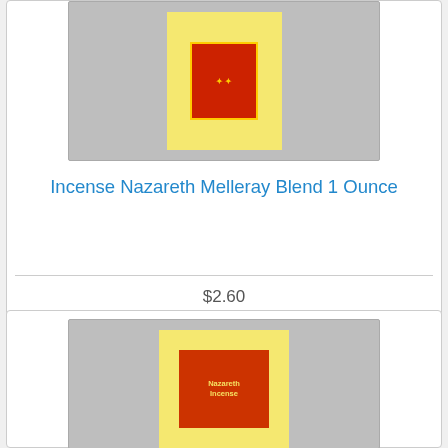[Figure (photo): Product photo of Incense Nazareth Melleray Blend 1 Ounce package - yellow box with red label]
Incense Nazareth Melleray Blend 1 Ounce
$2.60
View | Buy
1
[Figure (photo): Second product photo of Nazareth Incense package - yellow box with red label showing 'Nazareth Incense' text]